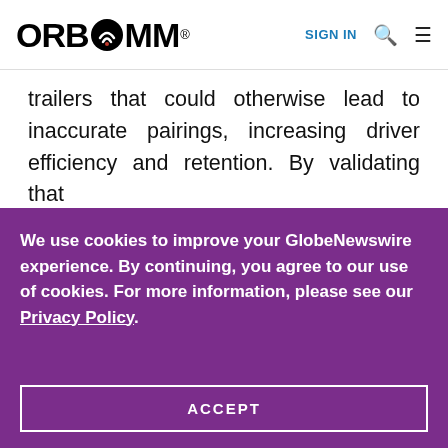ORBCOMM® | SIGN IN
trailers that could otherwise lead to inaccurate pairings, increasing driver efficiency and retention. By validating that
We use cookies to improve your GlobeNewswire experience. By continuing, you agree to our use of cookies. For more information, please see our Privacy Policy.
ACCEPT